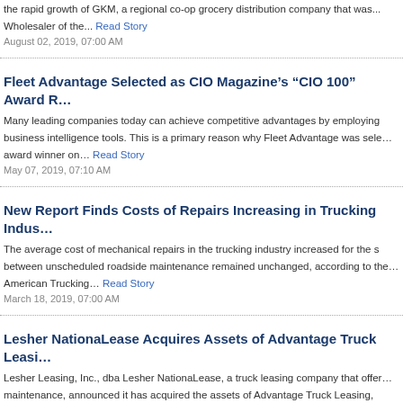the rapid growth of GKM, a regional co-op grocery distribution company that was... Wholesaler of the... Read Story
August 02, 2019, 07:00 AM
Fleet Advantage Selected as CIO Magazine's “CIO 100” Award Re…
Many leading companies today can achieve competitive advantages by employing business intelligence tools. This is a primary reason why Fleet Advantage was selected award winner on... Read Story
May 07, 2019, 07:10 AM
New Report Finds Costs of Repairs Increasing in Trucking Indus…
The average cost of mechanical repairs in the trucking industry increased for the s between unscheduled roadside maintenance remained unchanged, according to the American Trucking... Read Story
March 18, 2019, 07:00 AM
Lesher NationaLease Acquires Assets of Advantage Truck Leasi…
Lesher Leasing, Inc., dba Lesher NationaLease, a truck leasing company that offer maintenance, announced it has acquired the assets of Advantage Truck Leasing, dba will operate... Read Story
January 11, 2019, 07:15 AM